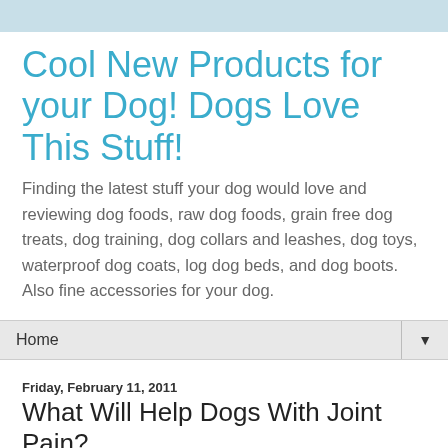Cool New Products for your Dog! Dogs Love This Stuff!
Finding the latest stuff your dog would love and reviewing dog foods, raw dog foods, grain free dog treats, dog training, dog collars and leashes, dog toys, waterproof dog coats, log dog beds, and dog boots. Also fine accessories for your dog.
Home
Friday, February 11, 2011
What Will Help Dogs With Joint Pain?
What Will Help Senior Dogs With Joint Pain?
As dogs age, many develop a limp or a hitch in their gait. Sometimes they slow down and lose